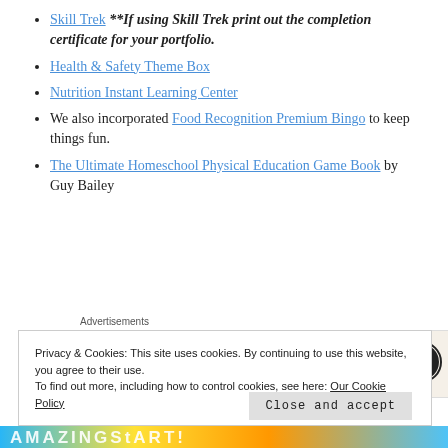Skill Trek **If using Skill Trek print out the completion certificate for your portfolio.
Health & Safety Theme Box
Nutrition Instant Learning Center
We also incorporated Food Recognition Premium Bingo to keep things fun.
The Ultimate Homeschool Physical Education Game Book by Guy Bailey
[Figure (screenshot): Advertisement box with beige background showing 'Professionally designed sites in less than a week' with WordPress logo]
Privacy & Cookies: This site uses cookies. By continuing to use this website, you agree to their use. To find out more, including how to control cookies, see here: Our Cookie Policy
Close and accept
[Figure (illustration): Colorful bottom banner bar with text]